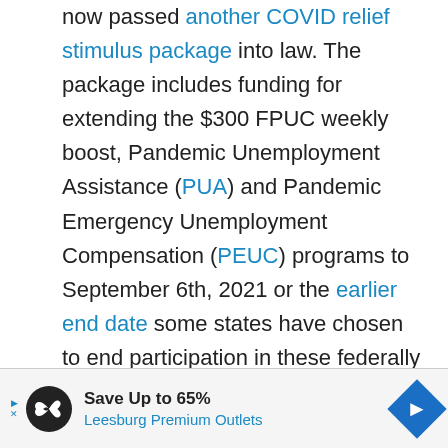now passed another COVID relief stimulus package into law. The package includes funding for extending the $300 FPUC weekly boost, Pandemic Unemployment Assistance (PUA) and Pandemic Emergency Unemployment Compensation (PEUC) programs to September 6th, 2021 or the earlier end date some states have chosen to end participation in these federally funded programs.
[Figure (other): Advertisement banner for Leesburg Premium Outlets: Save Up to 65%. Black circular logo with infinity-style graphic. Blue diamond arrow icon on the right.]